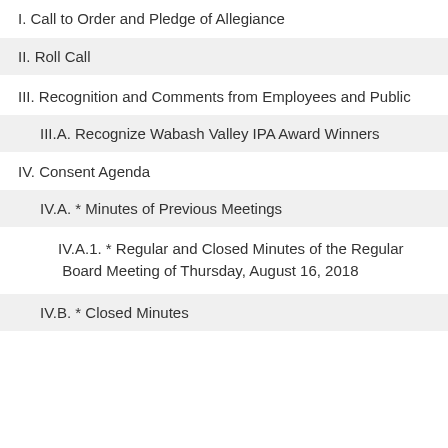I. Call to Order and Pledge of Allegiance
II. Roll Call
III. Recognition and Comments from Employees and Public
III.A. Recognize Wabash Valley IPA Award Winners
IV. Consent Agenda
IV.A. * Minutes of Previous Meetings
IV.A.1. * Regular and Closed Minutes of the Regular  Board Meeting of Thursday, August 16, 2018
IV.B. * Closed Minutes